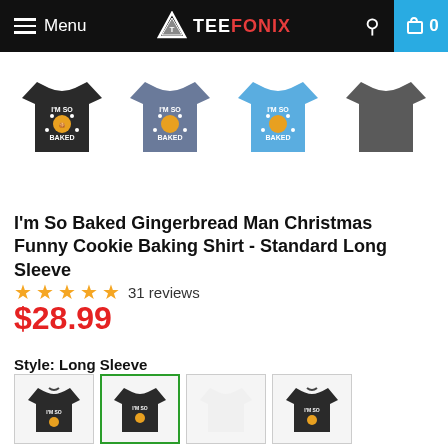Menu | TEEFONIX | Search | Cart 0
[Figure (photo): Four product thumbnail images of long sleeve shirts: black, slate blue, light blue, and dark gray. The first three show 'I'm So Baked' gingerbread man graphic; the fourth is plain.]
I'm So Baked Gingerbread Man Christmas Funny Cookie Baking Shirt - Standard Long Sleeve
★★★★★ 31 reviews
$28.99
Style: Long Sleeve
[Figure (photo): Four style option thumbnails at the bottom: hoodie (dark), long sleeve (dark, selected with green border), plain, and hoodie with graphic.]